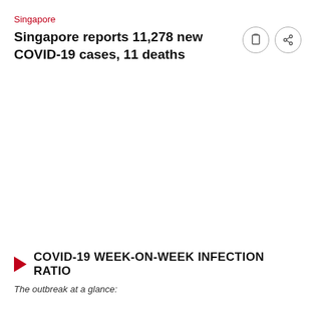Singapore
Singapore reports 11,278 new COVID-19 cases, 11 deaths
COVID-19 WEEK-ON-WEEK INFECTION RATIO
The outbreak at a glance: